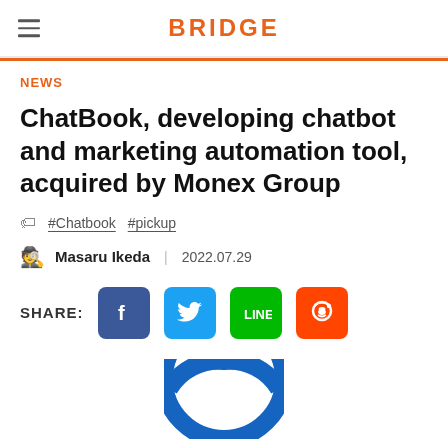BRIDGE
NEWS
ChatBook, developing chatbot and marketing automation tool, acquired by Monex Group
#Chatbook #pickup
Masaru Ikeda | 2022.07.29
SHARE:
[Figure (illustration): Partial circular logo/image at the bottom of the page, showing a blue circle arc]